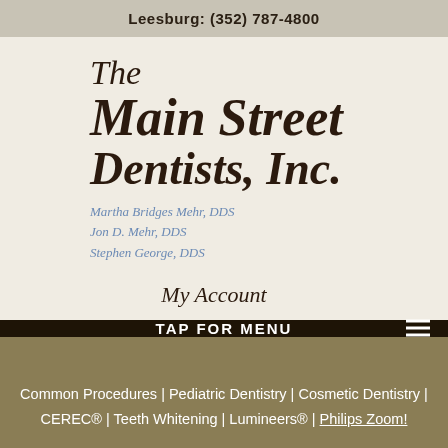Leesburg: (352) 787-4800
The Main Street Dentists, Inc.
Martha Bridges Mehr, DDS
Jon D. Mehr, DDS
Stephen George, DDS
My Account
TAP FOR MENU
Common Procedures | Pediatric Dentistry | Cosmetic Dentistry | CEREC® | Teeth Whitening | Lumineers® | Philips Zoom!